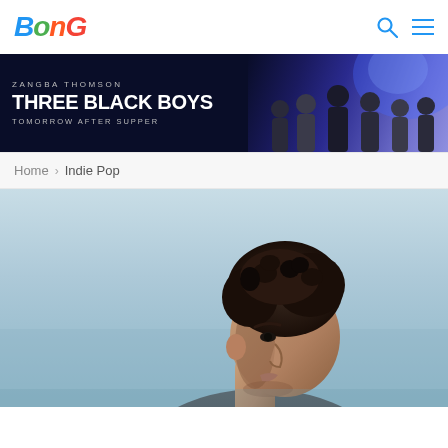BonG — navigation header with logo, search icon, and menu icon
[Figure (photo): Banner advertisement: ZANGBA THOMSON — THREE BLACK BOYS — TOMORROW AFTER SUPPER, dark blue/purple background with group of people]
Home > Indie Pop
[Figure (photo): Hero image: close-up profile/side view of a young man with curly dark hair against a light blue sky background]